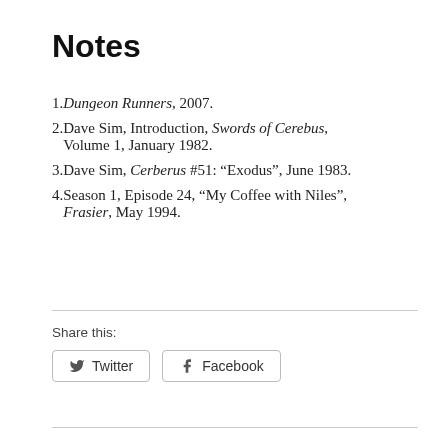Notes
Dungeon Runners, 2007.
Dave Sim, Introduction, Swords of Cerebus, Volume 1, January 1982.
Dave Sim, Cerberus #51: “Exodus”, June 1983.
Season 1, Episode 24, “My Coffee with Niles”, Frasier, May 1994.
Share this:
Twitter  Facebook